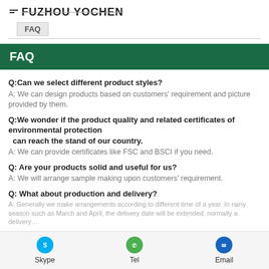FUZHOU YOCHEN
FAQ
FAQ
Q:Can we select different product styles?
A: We can design products based on customers' requirement and picture provided by them.
Q:We wonder if the product quality and related certificates of environmental protection can reach the stand of our country.
A: We can provide certificates like FSC and BSCI if you need.
Q: Are your products solid and useful for us?
A: We will arrange sample making upon customers' requirement.
Q: What about production and delivery?
A: Generally we make arrangements according to different time of a year. In rainy season such as March and April, the delivery date will be extended, normally a delay...
Skype  Tel  Email